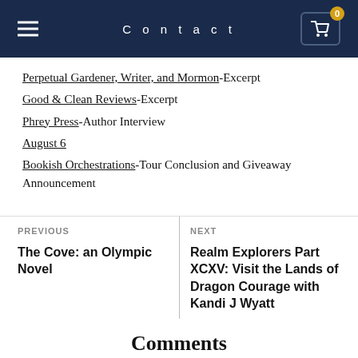Contact
Perpetual Gardener, Writer, and Mormon-Excerpt
Good & Clean Reviews-Excerpt
Phrey Press-Author Interview
August 6
Bookish Orchestrations-Tour Conclusion and Giveaway Announcement
PREVIOUS | The Cove: an Olympic Novel
NEXT | Realm Explorers Part XCXV: Visit the Lands of Dragon Courage with Kandi J Wyatt
Comments